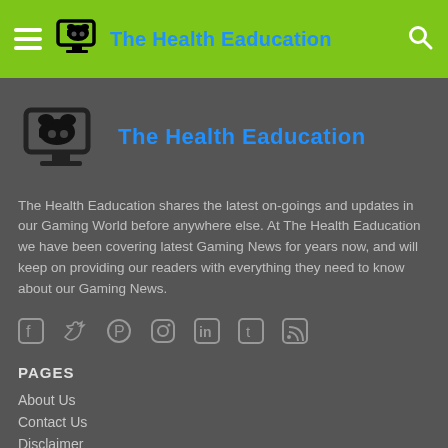The Health Eaducation
[Figure (logo): Gaming controller on monitor logo icon with site title 'The Health Eaducation' in blue]
The Health Eaducation shares the latest on-goings and updates in our Gaming World before anywhere else. At The Health Eaducation we have been covering latest Gaming News for years now, and will keep on providing our readers with everything they need to know about our Gaming News.
[Figure (infographic): Social media icons row: Facebook, Twitter, Pinterest, Instagram, LinkedIn, Tumblr, RSS]
PAGES
About Us
Contact Us
Disclaimer